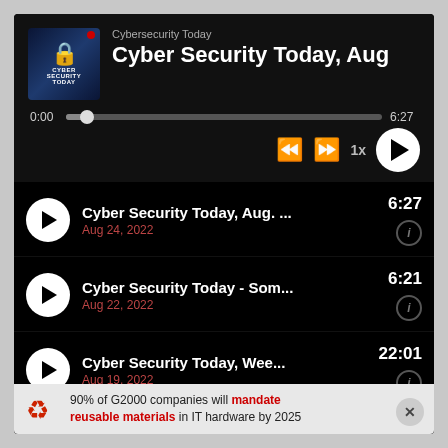[Figure (screenshot): Podcast player app screenshot showing 'Cybersecurity Today' podcast. Top section has a dark player UI with episode title 'Cyber Security Today, Aug', progress bar showing 0:00 to 6:27, playback controls. Below are 4 episode list items with play buttons, titles, dates, and durations. Bottom has an ad banner.]
Cybersecurity Today
Cyber Security Today, Aug
0:00   6:27   1x
Cyber Security Today, Aug. ...   6:27   Aug 24, 2022
Cyber Security Today - Som...   6:21   Aug 22, 2022
Cyber Security Today, Wee...   22:01   Aug 19, 2022
Cyber Security Today, Aug. ...   4:12   Aug 19, 2022
90% of G2000 companies will mandate reusable materials in IT hardware by 2025